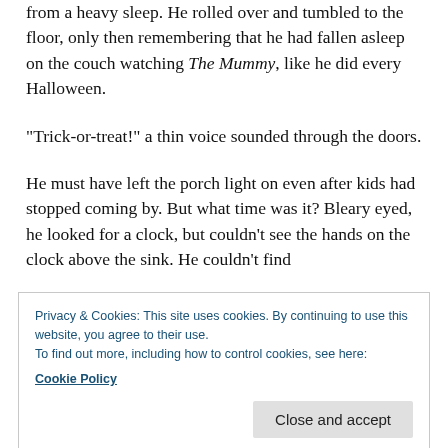The dastardly ringing of the doorbell woke Stacey from a heavy sleep. He rolled over and tumbled to the floor, only then remembering that he had fallen asleep on the couch watching The Mummy, like he did every Halloween.
“Trick-or-treat!” a thin voice sounded through the doors.
He must have left the porch light on even after kids had stopped coming by. But what time was it? Bleary eyed, he looked for a clock, but couldn’t see the hands on the clock above the sink. He couldn’t find
Privacy & Cookies: This site uses cookies. By continuing to use this website, you agree to their use.
To find out more, including how to control cookies, see here:
Cookie Policy
He staggered toward the door where the bloody monster should, for once, at least. For...